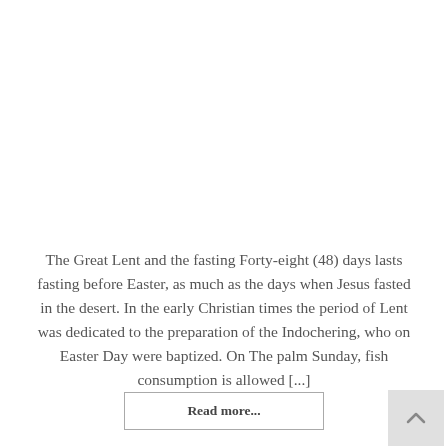The Great Lent and the fasting Forty-eight (48) days lasts fasting before Easter, as much as the days when Jesus fasted in the desert. In the early Christian times the period of Lent was dedicated to the preparation of the Indochering, who on Easter Day were baptized. On The palm Sunday, fish consumption is allowed [...]
Read more...